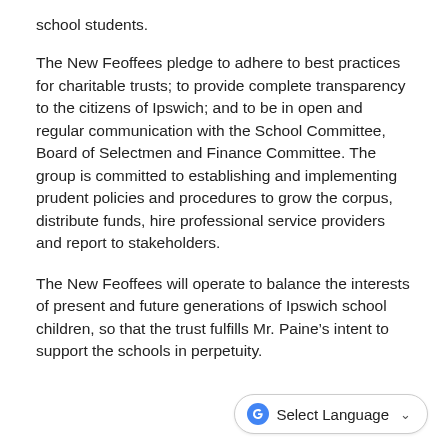school students.
The New Feoffees pledge to adhere to best practices for charitable trusts; to provide complete transparency to the citizens of Ipswich; and to be in open and regular communication with the School Committee, Board of Selectmen and Finance Committee. The group is committed to establishing and implementing prudent policies and procedures to grow the corpus, distribute funds, hire professional service providers and report to stakeholders.
The New Feoffees will operate to balance the interests of present and future generations of Ipswich school children, so that the trust fulfills Mr. Paine’s intent to support the schools in perpetuity.
[Figure (other): Google Translate 'Select Language' dropdown button with Google G icon and chevron arrow]